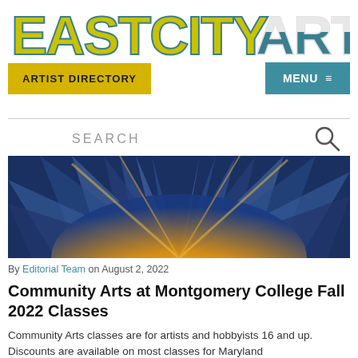[Figure (logo): EastCityArt logo in large stylized block letters, yellow-green and teal/blue colors]
ARTIST DIRECTORY   MENU ≡
SEARCH
[Figure (photo): Abstract painting of a bright yellow sunburst radiating outward against a deep blue background with textured brushwork]
By Editorial Team on August 2, 2022
Community Arts at Montgomery College Fall 2022 Classes
Community Arts classes are for artists and hobbyists 16 and up. Discounts are available on most classes for Maryland